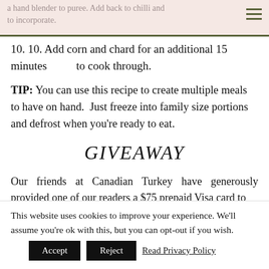a hand blender to puree. Add back to chilli and to incorporate
10. 10. Add corn and chard for an additional 15 minutes to cook through.
TIP: You can use this recipe to create multiple meals to have on hand. Just freeze into family size portions and defrost when you're ready to eat.
GIVEAWAY
Our friends at Canadian Turkey have generously provided one of our readers a $75 prepaid Visa card to
This website uses cookies to improve your experience. We'll assume you're ok with this, but you can opt-out if you wish.